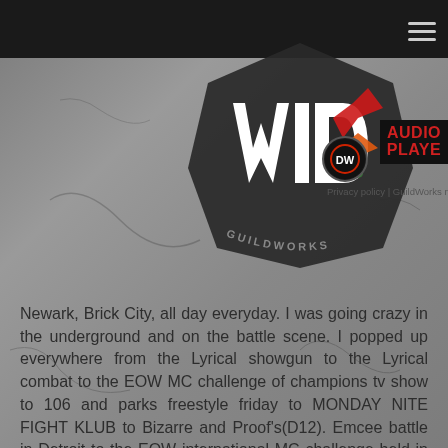GuildWorks Media
[Figure (logo): GuildWorks logo badge — a dark octagonal/shield shape with stylized 'DWI' graffiti lettering in white with colorful accents (red, orange, green arrows), text 'GUILDWORKS' around the bottom arc]
[Figure (logo): Small circular logo top left — red and white emblem]
AUDIO PLAYER
Privacy policy | GuildWorks Media
Newark, Brick City, all day everyday. I was going crazy in the underground and on the battle scene. I popped up everywhere from the Lyrical showgun to the Lyrical combat to the EOW MC challenge of champions tv show to 106 and parks freestyle friday to MONDAY NITE FIGHT KLUB to Bizarre and Proof's(D12). Emcee battle in Detroit to the EOW international MC challenge held in SPAIN. I